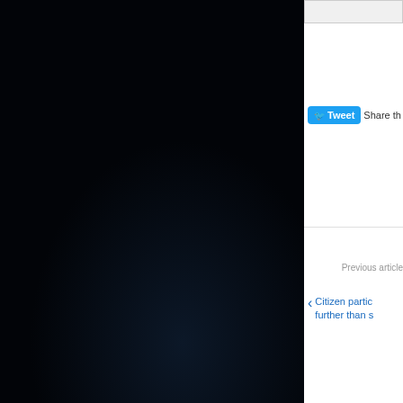[Figure (photo): Dark night sky photograph occupying the left two-thirds of the page, nearly black with very dark blue tones]
[Figure (screenshot): Website sidebar UI snippet showing: an input box at top, a Tweet button with 'Share th...' text, a Previous article navigation link 'Citizen partic... further than s...', an 'Articles that migh...' dark section header, a thumbnail photo of a city skyline at night with a large full moon, and caption text 'A big full moon vs. th...']